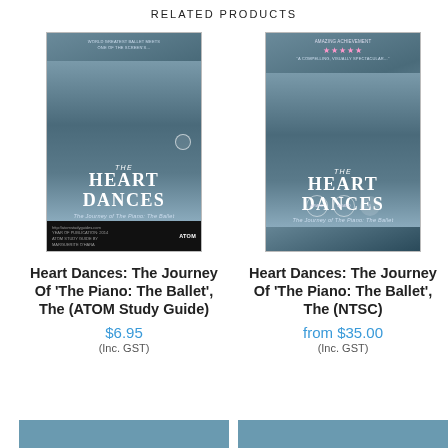RELATED PRODUCTS
[Figure (photo): Movie poster for 'The Heart Dances: The Journey of The Piano: The Ballet' - ATOM Study Guide edition. Shows a person in blue robes leaning over a grand piano on a beach. Dark bar at bottom with ATOM logo.]
Heart Dances: The Journey Of 'The Piano: The Ballet', The (ATOM Study Guide)
$6.95
(Inc. GST)
[Figure (photo): Movie poster for 'The Heart Dances: The Journey of The Piano: The Ballet' - NTSC edition. Shows a person in blue robes leaning over a grand piano on a beach. Has review quotes, stars rating, and award badge icons at bottom.]
Heart Dances: The Journey Of 'The Piano: The Ballet', The (NTSC)
from $35.00
(Inc. GST)